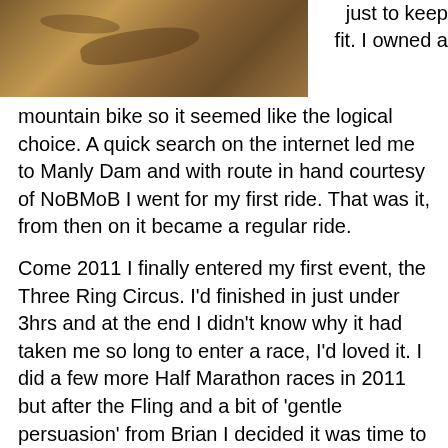[Figure (photo): Outdoor mountain bike trail with dirt path and rocky terrain, sepia/brown tones]
just to keep fit. I owned a mountain bike so it seemed like the logical choice. A quick search on the internet led me to Manly Dam and with route in hand courtesy of NoBMoB I went for my first ride. That was it, from then on it became a regular ride.
Come 2011 I finally entered my first event, the Three Ring Circus. I'd finished in just under 3hrs and at the end I didn't know why it had taken me so long to enter a race, I'd loved it. I did a few more Half Marathon races in 2011 but after the Fling and a bit of 'gentle persuasion' from Brian I decided it was time to up the stakes and tackle the full Marathon races.
2012 saw me tackle the Convict, the Husky and of course the Fling. Those results have now set the targets to be beaten over the course of 2013 and beyond. Riding with the other members of the team has added a great level of motivation to my riding and beyond...